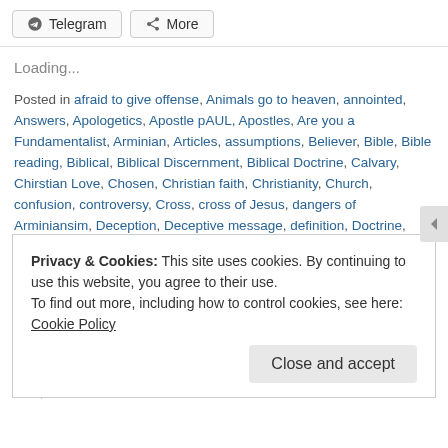Telegram | More
Loading...
Posted in afraid to give offense, Animals go to heaven, annointed, Answers, Apologetics, Apostle pAUL, Apostles, Are you a Fundamentalist, Arminian, Articles, assumptions, Believer, Bible, Bible reading, Biblical, Biblical Discernment, Biblical Doctrine, Calvary, Chirstian Love, Chosen, Christian faith, Christianity, Church, confusion, controversy, Cross, cross of Jesus, dangers of Arminiansim, Deception, Deceptive message, definition, Doctrine, doctrine of man, doctrines of demons, Doctrines of grace, Don Fortner, Election, ESV, eternal salvation, Evangelicals, Evil, Faith, False doctrine, false spirit, Forgiveness, fundamentalism, fundamentalist, fundamentals, Gifts of the Holy Spirit, Glory, God, Gospel, Gospel of Grace, Grace, Grant Swart, Heaven, Hell, Holy Spirit, In the world, Jesus, Lord Jesus, Love, monergist, Of the world, Peace, Questions, Reformed, Resurrection, Salvation, Satan, Saving faith,
Privacy & Cookies: This site uses cookies. By continuing to use this website, you agree to their use. To find out more, including how to control cookies, see here: Cookie Policy
Close and accept